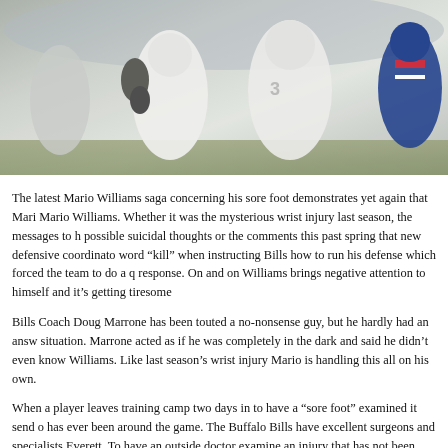[Figure (photo): Football players in white uniforms during a game, with a player in blue and red uniform visible on the right side]
The latest Mario Williams saga concerning his sore foot demonstrates yet again that Mario Williams. Whether it was the mysterious wrist injury last season, the messages to h possible suicidal thoughts or the comments this past spring that new defensive coordinato word “kill” when instructing Bills how to run his defense which forced the team to do a q response. On and on Williams brings negative attention to himself and it’s getting tiresome
Bills Coach Doug Marrone has been touted a no-nonsense guy, but he hardly had an answ situation. Marrone acted as if he was completely in the dark and said he didn’t even know Williams. Like last season’s wrist injury Mario is handling this all on his own.
When a player leaves training camp two days in to have a “sore foot” examined it send o has ever been around the game. The Buffalo Bills have excellent surgeons and specialists Everett. To have an outside doctor examine an injury that has not been fully examined by the norm and the Bills cannot be happy about it.
As I wrote earlier, Doug Marrone has been described as a no-nonsense guy who cut loose